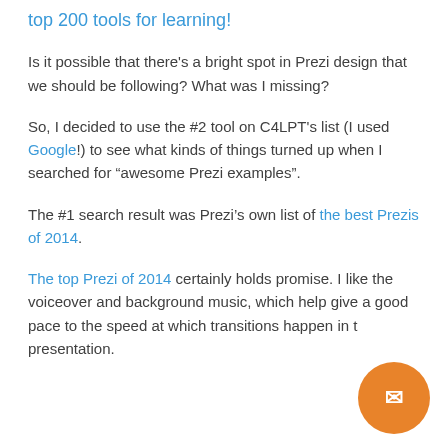top 200 tools for learning!
Is it possible that there's a bright spot in Prezi design that we should be following? What was I missing?
So, I decided to use the #2 tool on C4LPT's list (I used Google!) to see what kinds of things turned up when I searched for “awesome Prezi examples”.
The #1 search result was Prezi’s own list of the best Prezis of 2014.
The top Prezi of 2014 certainly holds promise. I like the voiceover and background music, which help give a good pace to the speed at which transitions happen in the presentation.